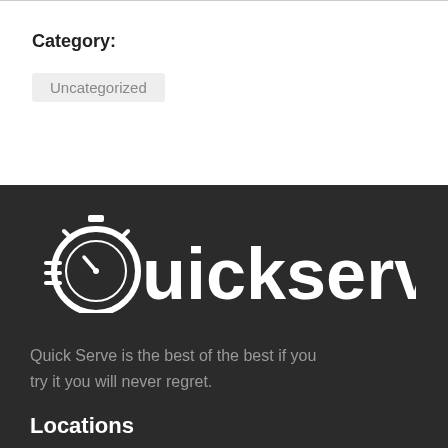Category:
Uncategorized
[Figure (logo): Quickserve logo: stopwatch icon integrated with the letter Q, white on dark background, followed by the text 'uickserve' in white bold sans-serif]
Quick Serve is the best of the best if you try it you will never regret.
Locations